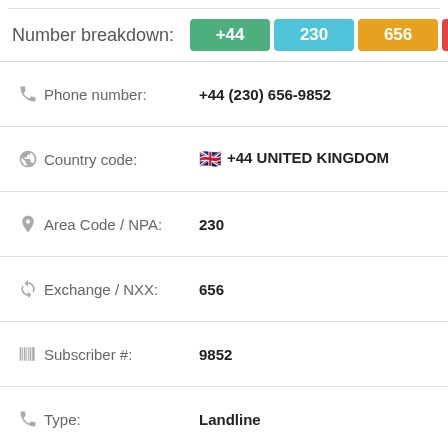Number breakdown: +44 230 656 98
| Field | Value |
| --- | --- |
| Phone number: | +44 (230) 656-9852 |
| Country code: | +44 UNITED KINGDOM |
| Area Code / NPA: | 230 |
| Exchange / NXX: | 656 |
| Subscriber #: | 9852 |
| Type: | Landline |
| Carrier / Provider: | N/A |
| Name: | Hidden |
| Address: | "Cambridge" |
| See also: | Get Complete Report |